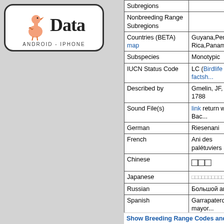[Figure (logo): Bird Data app logo with cartoon flamingo-like bird, text 'Data', and subtitle 'ANDROID - IPHONE' inside a rounded rectangle border]
| Field | Value |
| --- | --- |
| Subregions |  |
| Nonbreeding Range Subregions |  |
| Countries (BETA) map | Guyana,Peru,Arge... Rica,Panama,Urug... |
| Subspecies | Monotypic |
| IUCN Status Code | LC (Birdlife factsh... |
| Described by | Gmelin, JF, 1788 |
| Sound File(s) | link return with Bac... |
| German | Riesenani |
| French | Ani des palétuviers |
| Chinese | □□□ |
| Japanese | □□□□□□□□□□ |
| Russian | Большой ани |
| Spanish | Garrapatero mayor... |
| Portuguese | anu-coroca |
| Bird Data app text | Much larger than o... |
Historical Infonatura static map
Show Breeding Range Codes and I...